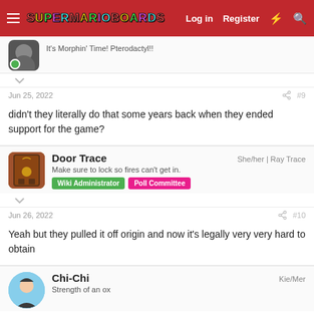Super Mario Boards — Log in | Register
It's Morphin' Time! Pterodactyl!!
Jun 25, 2022   #9
didn't they literally do that some years back when they ended support for the game?
Door Trace — She/her | Ray Trace — Make sure to lock so fires can't get in. — Wiki Administrator | Poll Committee
Jun 26, 2022   #10
Yeah but they pulled it off origin and now it's legally very very hard to obtain
Chi-Chi — Kie/Mer — Strength of an ox